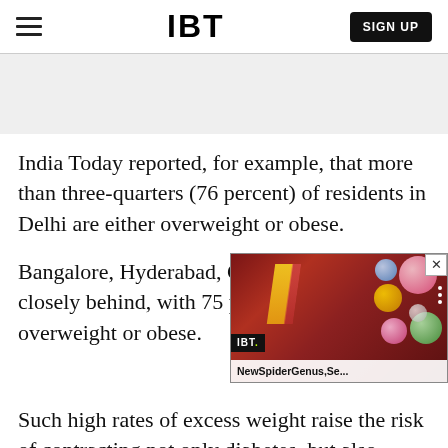IBT
[Figure (other): Grey banner advertisement area]
India Today reported, for example, that more than three-quarters (76 percent) of residents in Delhi are either overweight or obese.
Bangalore, Hyderabad, Che... closely behind, with 75 per... overweight or obese.
[Figure (screenshot): Video widget overlay showing IBT logo and title 'NewSpiderGenus,Se...' over a colorful painted portrait image with decorative spheres]
Such high rates of excess weight raise the risk of contracting not only diabetes, but also